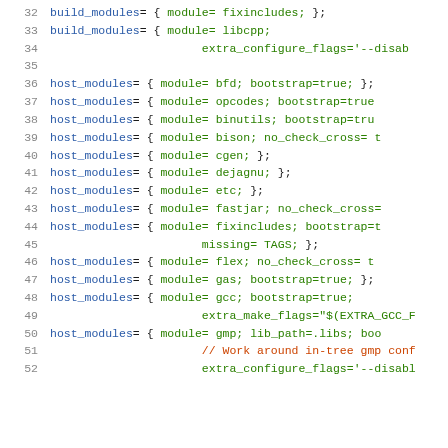[Figure (screenshot): Source code listing showing build configuration script with line numbers 32-52, featuring build_modules and host_modules entries with various module definitions including fixincludes, libcpp, bfd, opcodes, binutils, bison, cgen, dejagnu, etc, fastjar, fixincludes, flex, gas, gcc, and gmp modules with associated configuration flags.]